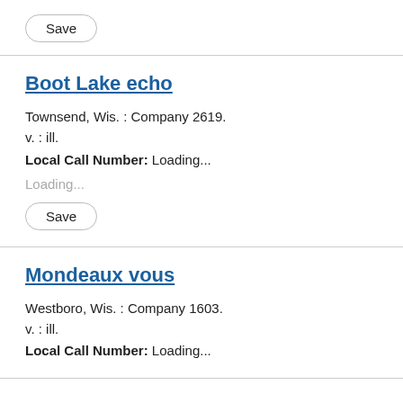[Figure (other): Save button (pill-shaped outline button)]
Boot Lake echo
Townsend, Wis. : Company 2619.
v. : ill.
Local Call Number: Loading...
Loading...
[Figure (other): Save button (pill-shaped outline button)]
Mondeaux vous
Westboro, Wis. : Company 1603.
v. : ill.
Local Call Number: Loading...